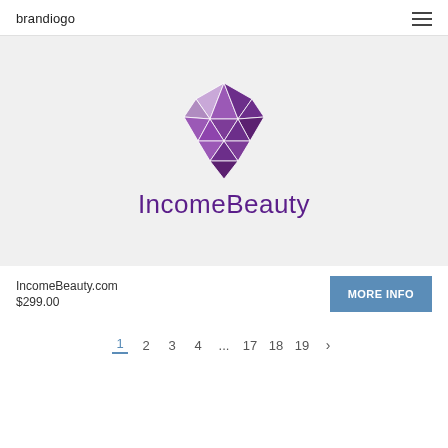brandiogo
[Figure (logo): IncomeBeauty logo: geometric diamond/gem shape made of purple and light purple triangles above the text 'IncomeBeauty' in a purple gradient font, on a light gray background]
IncomeBeauty.com
$299.00
MORE INFO
1  2  3  4  ...  17  18  19  >